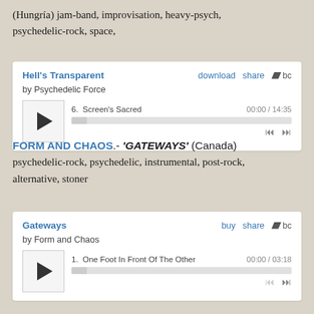(Hungría) jam-band, improvisation, heavy-psych, psychedelic-rock, space,
[Figure (other): Bandcamp music player widget for 'Hell's Transparent' by Psychedelic Force. Shows track 6: Screen's Sacred, duration 00:00 / 14:35, with play button, progress bar, and transport controls.]
FORM AND CHAOS - 'GATEWAYS' (Canada) psychedelic-rock, psychedelic, instrumental, post-rock, alternative, stoner
[Figure (other): Bandcamp music player widget for 'Gateways' by Form and Chaos. Shows track 1: One Foot In Front Of The Other, duration 00:00 / 03:18, with play button, progress bar, and transport controls.]